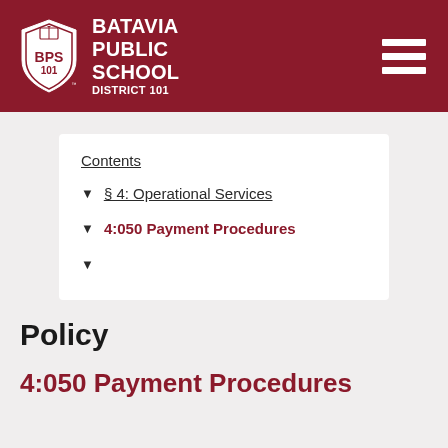Batavia Public School District 101
Contents
§ 4: Operational Services
4:050 Payment Procedures
Policy
4:050 Payment Procedures